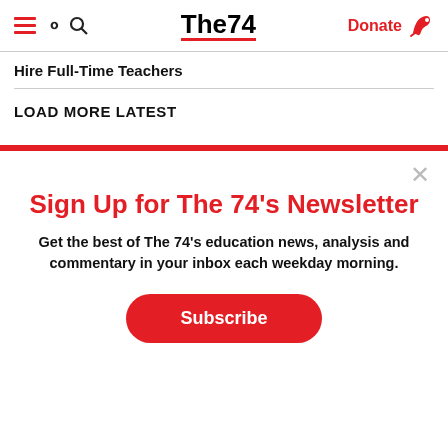The74 — Donate
Hire Full-Time Teachers
LOAD MORE LATEST
Sign Up for The 74's Newsletter
Get the best of The 74's education news, analysis and commentary in your inbox each weekday morning.
Subscribe